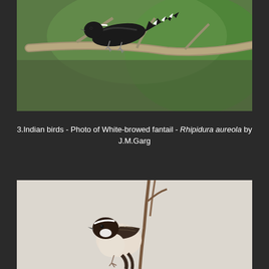[Figure (photo): Close-up photo of a White-browed fantail bird perched on a bare branch, viewed from above/behind, showing spread tail feathers with white markings, against a blurred green background.]
3.Indian birds - Photo of White-browed fantail - Rhipidura aureola by J.M.Garg
[Figure (photo): Photo of a small bird (White-browed fantail, Rhipidura aureola) perched on a thin branch, showing distinctive black and white facial markings and brown/white body plumage, against a pale grey background.]